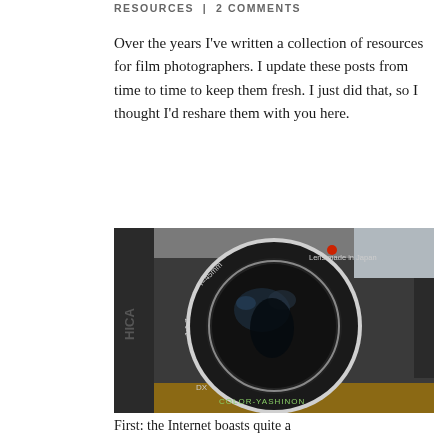RESOURCES | 2 COMMENTS
Over the years I've written a collection of resources for film photographers. I update these posts from time to time to keep them fresh. I just did that, so I thought I'd reshare them with you here.
[Figure (photo): Close-up photo of a Yashica film camera lens. The black lens ring shows text: 'f=45mm', '1:1.7', 'Lens made in Japan', 'COLOR-YASHINON DX'. A red dot is visible at the top of the lens ring. The lens reflects the photographer taking the picture.]
First: the Internet boasts quite a